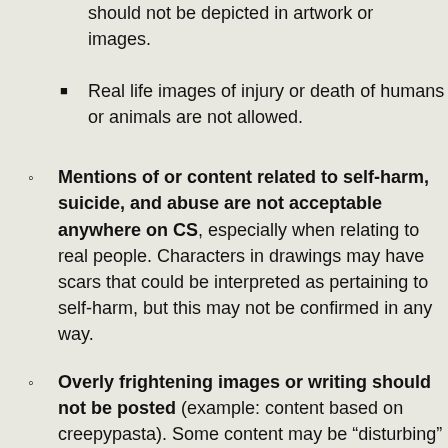should not be depicted in artwork or images.
Real life images of injury or death of humans or animals are not allowed.
Mentions of or content related to self-harm, suicide, and abuse are not acceptable anywhere on CS, especially when relating to real people. Characters in drawings may have scars that could be interpreted as pertaining to self-harm, but this may not be confirmed in any way.
Overly frightening images or writing should not be posted (example: content based on creepypasta). Some content may be "disturbing" without displaying any overt